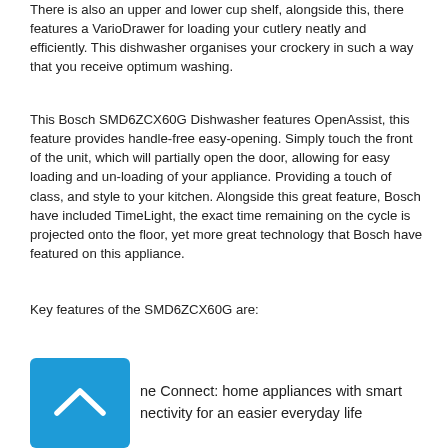There is also an upper and lower cup shelf, alongside this, there features a VarioDrawer for loading your cutlery neatly and efficiently. This dishwasher organises your crockery in such a way that you receive optimum washing.
This Bosch SMD6ZCX60G Dishwasher features OpenAssist, this feature provides handle-free easy-opening. Simply touch the front of the unit, which will partially open the door, allowing for easy loading and un-loading of your appliance. Providing a touch of class, and style to your kitchen. Alongside this great feature, Bosch have included TimeLight, the exact time remaining on the cycle is projected onto the floor, yet more great technology that Bosch have featured on this appliance.
Key features of the SMD6ZCX60G are:
Home Connect: home appliances with smart connectivity for an easier everyday life